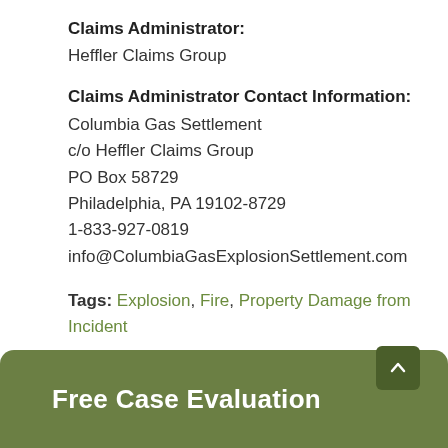Claims Administrator:
Heffler Claims Group
Claims Administrator Contact Information:
Columbia Gas Settlement
c/o Heffler Claims Group
PO Box 58729
Philadelphia, PA 19102-8729
1-833-927-0819
info@ColumbiaGasExplosionSettlement.com
Tags: Explosion, Fire, Property Damage from Incident
Free Case Evaluation